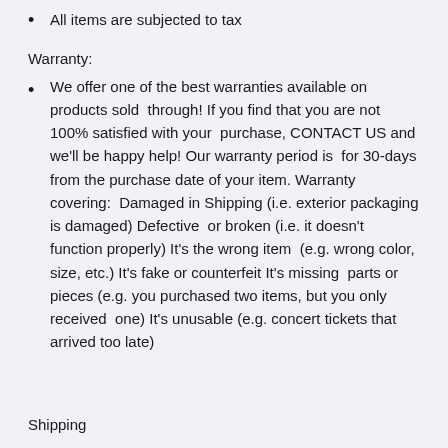All items are subjected to tax
Warranty:
We offer one of the best warranties available on products sold through! If you find that you are not 100% satisfied with your purchase, CONTACT US and we'll be happy help! Our warranty period is for 30-days from the purchase date of your item. Warranty covering: Damaged in Shipping (i.e. exterior packaging is damaged) Defective or broken (i.e. it doesn't function properly) It's the wrong item (e.g. wrong color, size, etc.) It's fake or counterfeit It's missing parts or pieces (e.g. you purchased two items, but you only received one) It's unusable (e.g. concert tickets that arrived too late)
Shipping
We take great care packaging every item to ensure safe